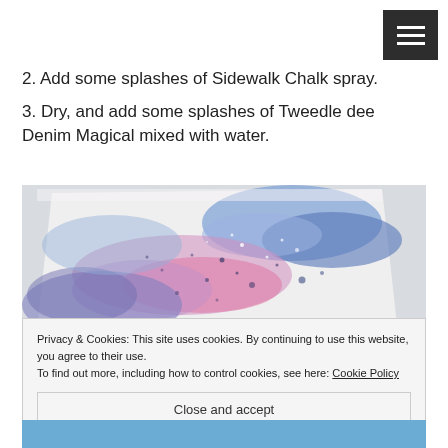[Figure (other): Hamburger menu button (three white lines on dark background) in top right corner]
2. Add some splashes of Sidewalk Chalk spray.
3. Dry, and add some splashes of Tweedle dee Denim Magical mixed with water.
[Figure (photo): Watercolor art piece showing pink, purple, and blue splashes and splatters on white paper, placed on a light wooden surface]
Privacy & Cookies: This site uses cookies. By continuing to use this website, you agree to their use.
To find out more, including how to control cookies, see here: Cookie Policy
Close and accept